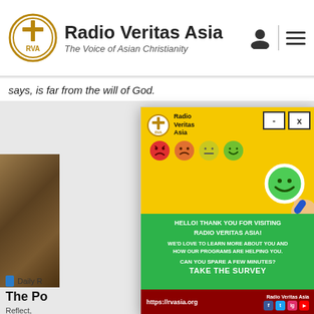Radio Veritas Asia — The Voice of Asian Christianity
says, is far from the will of God.
[Figure (screenshot): Radio Veritas Asia survey popup with yellow top section showing emoji satisfaction faces, green middle section with survey invitation text, and dark red footer with website URL and social media icons]
Daily [category]
The P[ower/rayer...]
Reflect, [heart. D...]